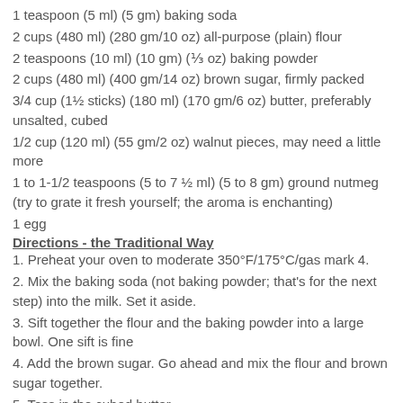1 teaspoon (5 ml) (5 gm) baking soda
2 cups (480 ml) (280 gm/10 oz) all-purpose (plain) flour
2 teaspoons (10 ml) (10 gm) (⅓ oz) baking powder
2 cups (480 ml) (400 gm/14 oz) brown sugar, firmly packed
3/4 cup (1½ sticks) (180 ml) (170 gm/6 oz) butter, preferably unsalted, cubed
1/2 cup (120 ml) (55 gm/2 oz) walnut pieces, may need a little more
1 to 1-1/2 teaspoons (5 to 7 ½ ml) (5 to 8 gm) ground nutmeg (try to grate it fresh yourself; the aroma is enchanting)
1 egg
Directions - the Traditional Way
1. Preheat your oven to moderate 350°F/175°C/gas mark 4.
2. Mix the baking soda (not baking powder; that's for the next step) into the milk. Set it aside.
3. Sift together the flour and the baking powder into a large bowl. One sift is fine
4. Add the brown sugar. Go ahead and mix the flour and brown sugar together.
5. Toss in the cubed butter.
6. Mash the butter with a fork into the dry ingredients for…